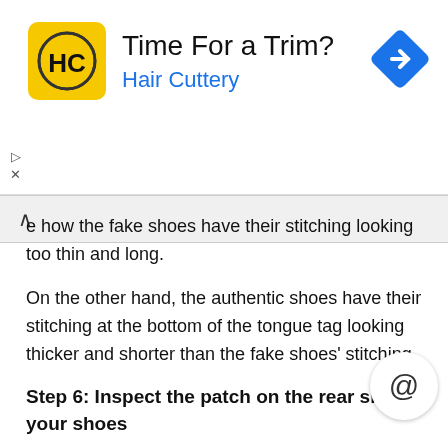[Figure (advertisement): Hair Cuttery advertisement banner with yellow logo showing HC text, title 'Time For a Trim?', subtitle 'Hair Cuttery', and blue diamond arrow icon on the right.]
...e how the fake shoes have their stitching looking too thin and long.
On the other hand, the authentic shoes have their stitching at the bottom of the tongue tag looking thicker and shorter than the fake shoes' stitching.
Step 6: Inspect the patch on the rear side your shoes
For the sixth way on how to spot fake Air Jordan 1 Mid sneakers, you will have to flip your shoes to the rear side and check out the patch where the two Nike Swoosh logos meet.